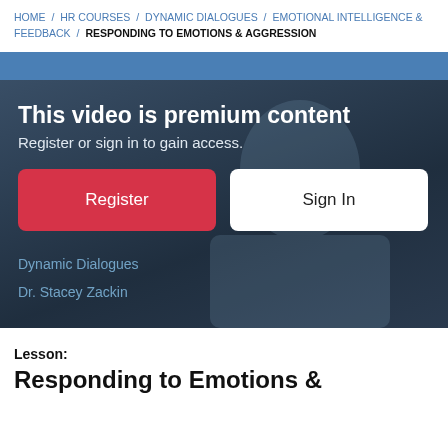HOME / HR COURSES / DYNAMIC DIALOGUES / EMOTIONAL INTELLIGENCE & FEEDBACK / RESPONDING TO EMOTIONS & AGGRESSION
[Figure (screenshot): Video player overlay showing premium content gate with dark background, presenter visible. Contains heading 'This video is premium content', subtext 'Register or sign in to gain access.', Register button (red), Sign In button (white), and watermark text 'Dynamic Dialogues' and 'Dr. Stacey Zackin'.]
Lesson:
Responding to Emotions &